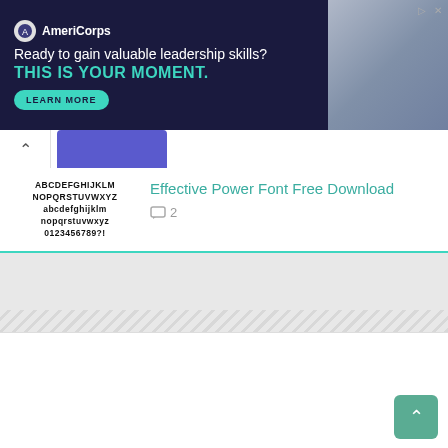[Figure (other): AmeriCorps advertisement banner with dark navy background. Logo and text: 'Ready to gain valuable leadership skills? THIS IS YOUR MOMENT.' with a teal LEARN MORE button and photo of students on right side.]
[Figure (screenshot): Website navigation bar with chevron/back button and a purple tab indicator.]
[Figure (illustration): Font preview image showing the Effective Power font specimen with uppercase letters ABCDEFGHIJKLM, NOPQRSTUVWXYZ, lowercase abcdefghijklm, nopqrstuvwxyz, and digits 0123456789?!]
Effective Power Font Free Download
2
[Figure (other): Diagonal stripe pattern area (gray hatching) used as a visual separator.]
[Figure (other): White lower content area with back-to-top button (teal chevron up).]